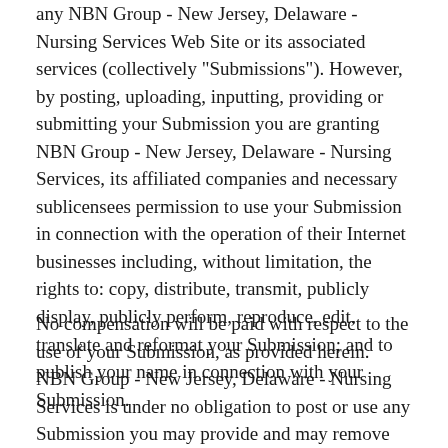any NBN Group - New Jersey, Delaware - Nursing Services Web Site or its associated services (collectively "Submissions"). However, by posting, uploading, inputting, providing or submitting your Submission you are granting NBN Group - New Jersey, Delaware - Nursing Services, its affiliated companies and necessary sublicensees permission to use your Submission in connection with the operation of their Internet businesses including, without limitation, the rights to: copy, distribute, transmit, publicly display, publicly perform, reproduce, edit, translate and reformat your Submission; and to publish your name in connection with your Submission.
No compensation will be paid with respect to the use of your Submission, as provided herein. NBN Group - New Jersey, Delaware - Nursing Services is under no obligation to post or use any Submission you may provide and may remove any Submission at any time in NBN Group - New Jersey,